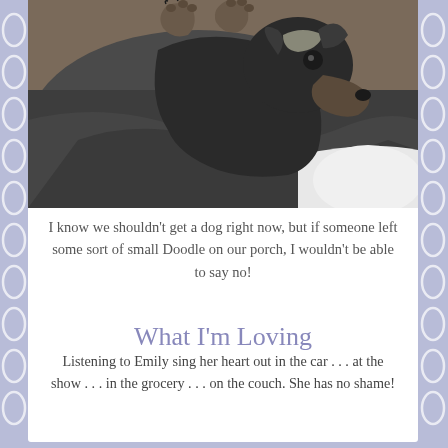[Figure (photo): A small dog (appears to be a greyhound or whippet mix) resting on dark gray blankets/fabric, looking toward the camera. The dog has a dark coat with some tan/gray markings. The photo is cropped at the top showing the dog's paws and head.]
I know we shouldn't get a dog right now, but if someone left some sort of small Doodle on our porch, I wouldn't be able to say no!
What I'm Loving
Listening to Emily sing her heart out in the car . . . at the show . . . in the grocery . . . on the couch. She has no shame!